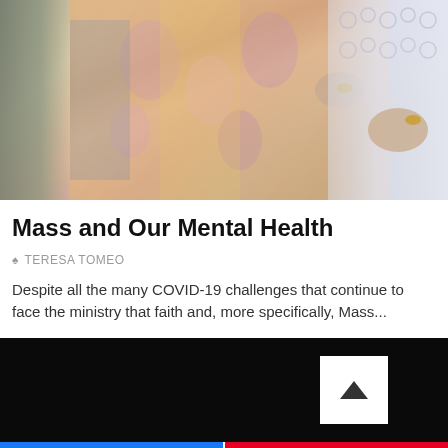[Figure (photo): Photo of a person in ornate priestly or liturgical vestments with floral pattern and white lace trim, holding something, partial view of hands with ring visible]
Mass and Our Mental Health
TERESA TOMEO
Despite all the many COVID-19 challenges that continue to face the ministry that faith and, more specifically, Mass...
[Figure (screenshot): Dark banner with white scroll-to-top button showing upward chevron arrow]
[Figure (infographic): Share bar with Facebook (blue) button on left and Pinterest (red) button on right]